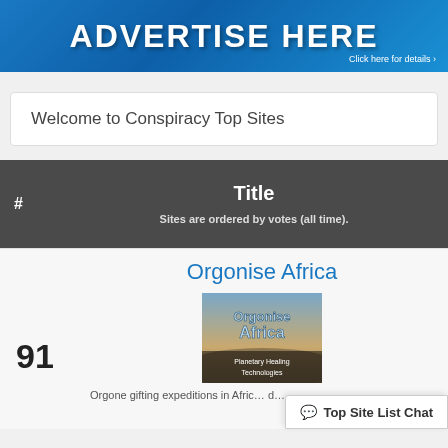[Figure (illustration): Blue gradient banner with white bold text 'ADVERTISE HERE' and 'Click here for details >' in the bottom right corner.]
Welcome to Conspiracy Top Sites
| # | Title | Sites are ordered by votes (all time). |
| --- | --- | --- |
Orgonise Africa
[Figure (photo): Thumbnail image for 'Orgonise Africa' showing text 'Orgonise Africa' and 'Planetary Healing Technologies' over a landscape background.]
91
Orgone gifting expeditions in Afric... d...
Top Site List Chat